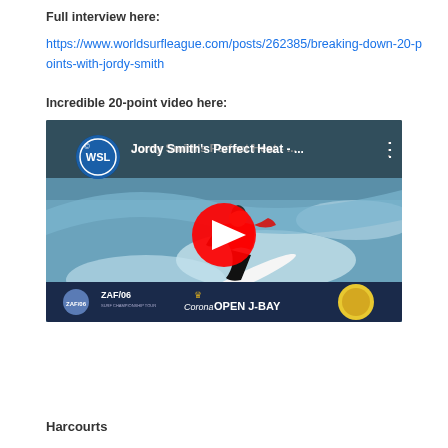Full interview here:
https://www.worldsurfleague.com/posts/262385/breaking-down-20-points-with-jordy-smith
Incredible 20-point video here:
[Figure (screenshot): YouTube video thumbnail showing Jordy Smith surfing with WSL logo, title 'Jordy Smith's Perfect Heat - ...' and Corona Open J-Bay branding at the bottom. A red YouTube play button is overlaid in the center.]
Harcourts